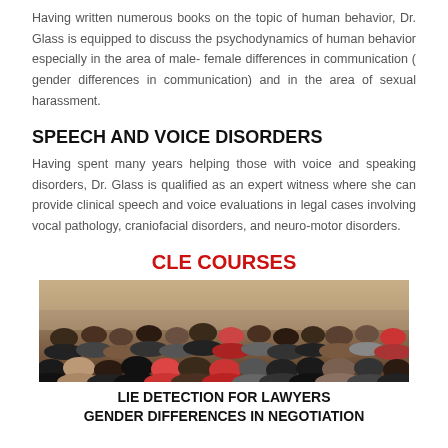Having written numerous books on the topic of human behavior, Dr. Glass is equipped to discuss the psychodynamics of human behavior especially in the area of male- female differences in communication ( gender differences in communication) and in the area of sexual harassment.
SPEECH AND VOICE DISORDERS
Having spent many years helping those with voice and speaking disorders, Dr. Glass is qualified as an expert witness where she can provide clinical speech and voice evaluations in legal cases involving vocal pathology, craniofacial disorders, and neuro-motor disorders.
CLE COURSES
[Figure (photo): Audience/crowd of people seen from behind in a seminar or lecture hall setting]
LIE DETECTION FOR LAWYERS
GENDER DIFFERENCES IN NEGOTIATION